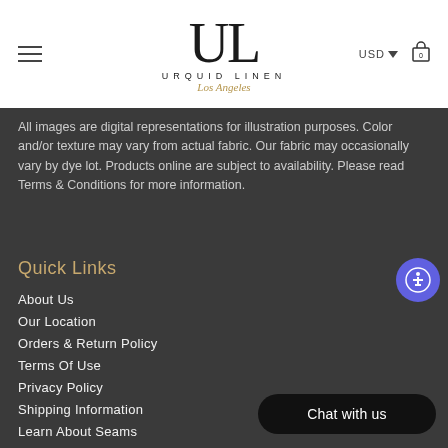URQUID LINEN Los Angeles — USD currency selector, cart icon
All images are digital representations for illustration purposes. Color and/or texture may vary from actual fabric. Our fabric may occasionally vary by dye lot. Products online are subject to availability. Please read Terms & Conditions for more information.
Quick Links
About Us
Our Location
Orders & Return Policy
Terms Of Use
Privacy Policy
Shipping Information
Learn About Seams
Linen Size Guide
Care Instructions